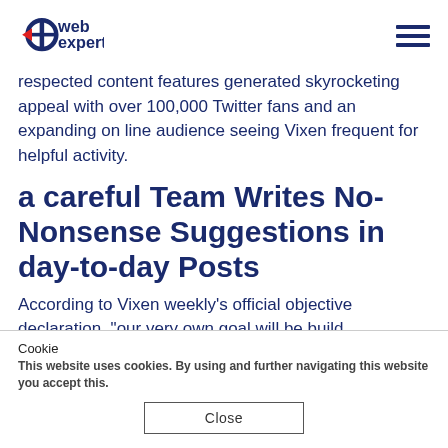web experts
respected content features generated skyrocketing appeal with over 100,000 Twitter fans and an expanding on line audience seeing Vixen frequent for helpful activity.
a careful Team Writes No-Nonsense Suggestions in day-to-day Posts
According to Vixen weekly's official objective declaration, “our very own goal will be build
Cookie
This website uses cookies. By using and further navigating this website you accept this.
Close